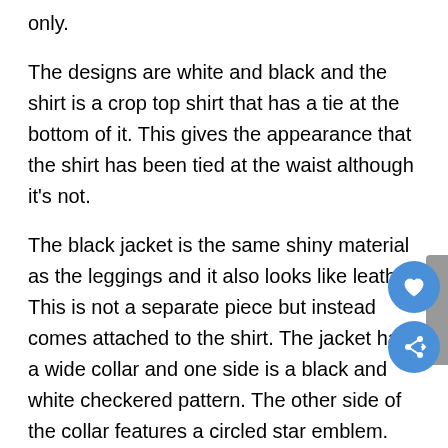only.
The designs are white and black and the shirt is a crop top shirt that has a tie at the bottom of it. This gives the appearance that the shirt has been tied at the waist although it's not.
The black jacket is the same shiny material as the leggings and it also looks like leather. This is not a separate piece but instead comes attached to the shirt. The jacket has a wide collar and one side is a black and white checkered pattern. The other side of the collar features a circled star emblem. The shoes do not come with this costume.